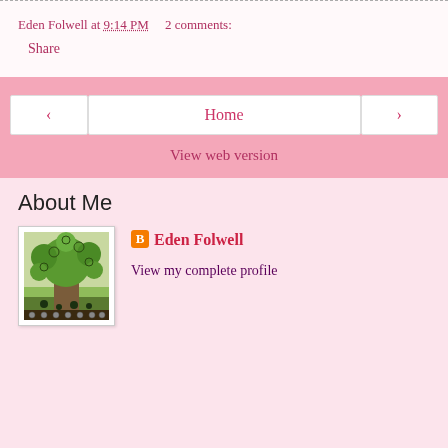Eden Folwell at 9:14 PM    2 comments:
Share
‹   Home   ›
View web version
About Me
[Figure (photo): Profile photo showing a decorative tree artwork with green and brown swirling patterns]
Eden Folwell
View my complete profile